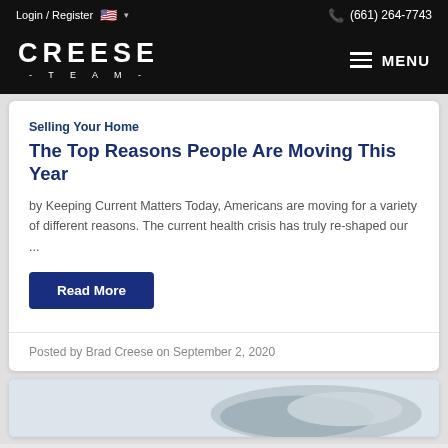Login / Register  🇺🇸 ▾     (661) 264-7743
[Figure (logo): CREESE TEAM logo in white on black background with hamburger menu and MENU text]
Selling Your Home
The Top Reasons People Are Moving This Year
by Keeping Current Matters Today, Americans are moving for a variety of different reasons. The current health crisis has truly re-shaped our ...
Read More
Posted by Brad Creese on September 2, 2020